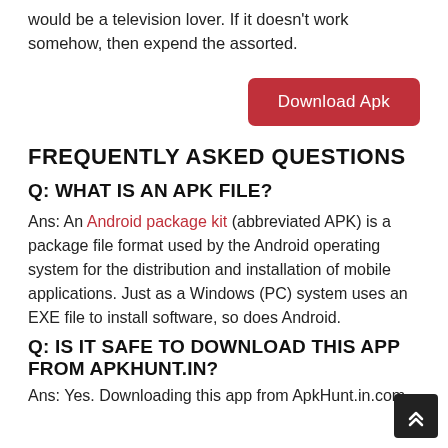would be a television lover. If it doesn't work somehow, then expend the assorted.
[Figure (other): Download Apk button (red/crimson rounded rectangle)]
FREQUENTLY ASKED QUESTIONS
Q: WHAT IS AN APK FILE?
Ans: An Android package kit (abbreviated APK) is a package file format used by the Android operating system for the distribution and installation of mobile applications. Just as a Windows (PC) system uses an EXE file to install software, so does Android.
Q: IS IT SAFE TO DOWNLOAD THIS APP FROM APKHUNT.IN?
Ans: Yes. Downloading this app from ApkHunt.in.com